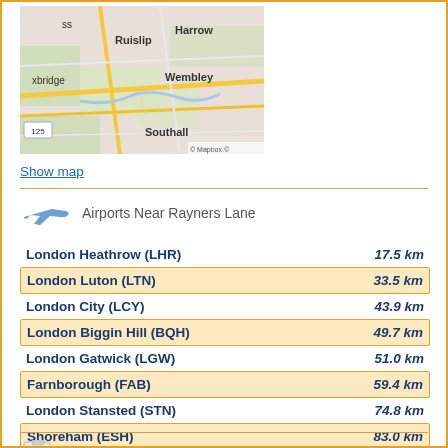[Figure (map): Street map showing Ruislip, Harrow, Wembley, Uxbridge, Southall area near London with roads and green areas. © Mapbox attribution visible.]
Show map
Airports Near Rayners Lane
| Airport | Distance |
| --- | --- |
| London Heathrow (LHR) | 17.5 km |
| London Luton (LTN) | 33.5 km |
| London City (LCY) | 43.9 km |
| London Biggin Hill (BQH) | 49.7 km |
| London Gatwick (LGW) | 51.0 km |
| Farnborough (FAB) | 59.4 km |
| London Stansted (STN) | 74.8 km |
| Shoreham (ESH) | 83.0 km |
| Cambridge (CBG) | 89.8 km |
In and around Rayners Lane